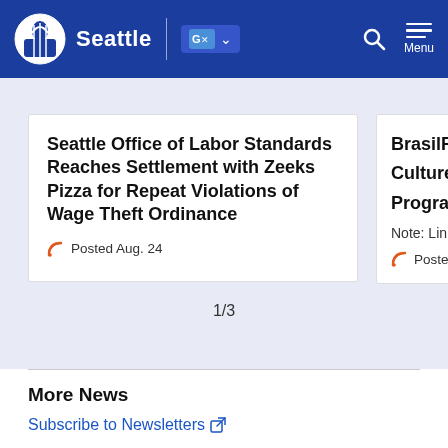Seattle
Seattle Office of Labor Standards Reaches Settlement with Zeeks Pizza for Repeat Violations of Wage Theft Ordinance
Posted Aug. 24
BrasilFes... Culture w... Program...
Note: Lin...
Posted A...
1/3
More News
Subscribe to Newsletters